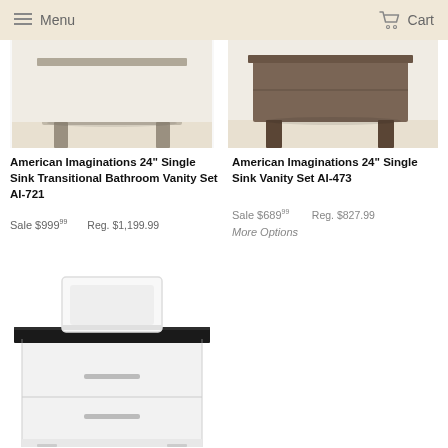Menu   Cart
[Figure (photo): American Imaginations 24 inch bathroom vanity set AI-721, gray/brown finish, bottom portion showing legs on light floor]
[Figure (photo): American Imaginations 24 inch bathroom vanity set AI-473, dark brown finish, bottom portion showing legs on light floor]
American Imaginations 24" Single Sink Transitional Bathroom Vanity Set AI-721
Sale $999.99   Reg. $1,199.99
American Imaginations 24" Single Sink Vanity Set AI-473
Sale $689.99   Reg. $827.99
More Options
[Figure (photo): White modern vanity cabinet with black countertop and white vessel sink, two drawers with silver bar handles]